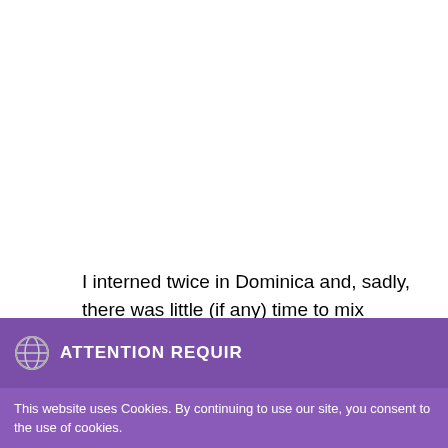I interned twice in Dominica and, sadly, there was little (if any) time to mix business with
[Figure (screenshot): Cookie consent banner overlay with purple background. Top bar shows a globe icon and 'ATTENTION REQUIR...' text (truncated). Below is a message: 'This website uses Cookies. By continuing to use our site, you consent to the use of cookies.' with an 'Accept' green button and a 'Privacy Center' dark button.]
in-country hosts and made my stay in